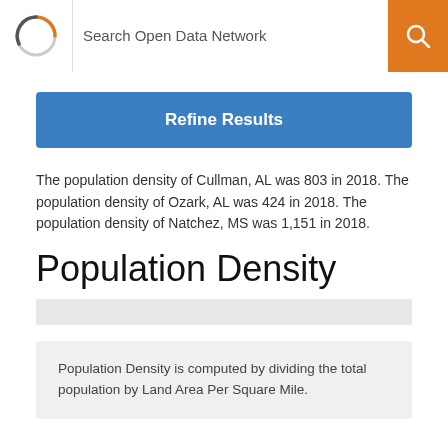Search Open Data Network
Refine Results
The population density of Cullman, AL was 803 in 2018. The population density of Ozark, AL was 424 in 2018. The population density of Natchez, MS was 1,151 in 2018.
Population Density
Population Density is computed by dividing the total population by Land Area Per Square Mile.